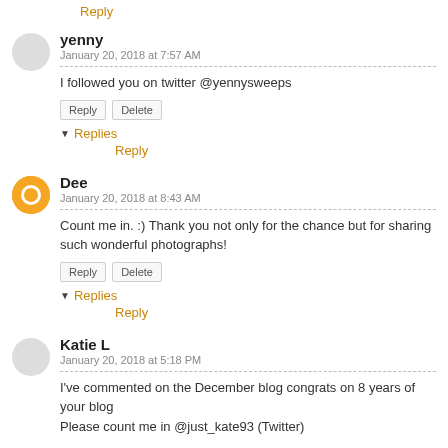Reply
yenny
January 20, 2018 at 7:57 AM
I followed you on twitter @yennysweeps
Reply Delete
▼ Replies
Reply
Dee
January 20, 2018 at 8:43 AM
Count me in. :) Thank you not only for the chance but for sharing such wonderful photographs!
Reply Delete
▼ Replies
Reply
Katie L
January 20, 2018 at 5:18 PM
I've commented on the December blog congrats on 8 years of your blog
Please count me in @just_kate93 (Twitter)